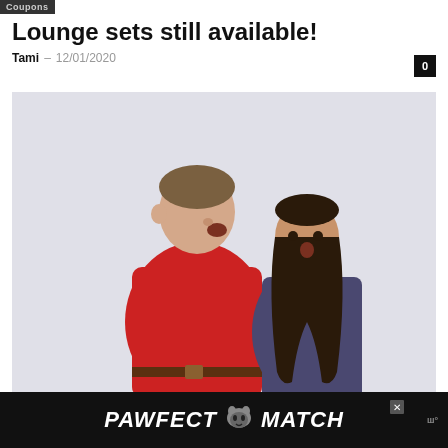Coupons
Lounge sets still available!
Tami – 12/01/2020
[Figure (photo): A man in a red lounge/fleece set hugging a woman in a purple outfit from behind. The woman looks surprised. Photo has a light grey background.]
PAWFECT MATCH